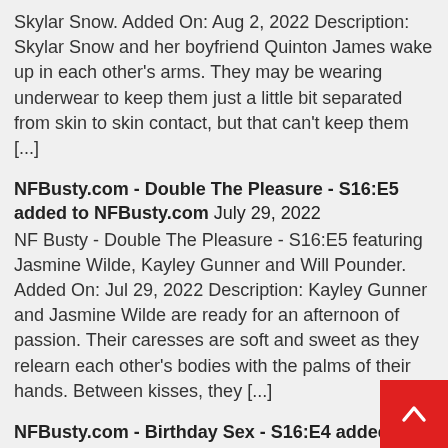Skylar Snow. Added On: Aug 2, 2022 Description: Skylar Snow and her boyfriend Quinton James wake up in each other's arms. They may be wearing underwear to keep them just a little bit separated from skin to skin contact, but that can't keep them [...]
NFBusty.com - Double The Pleasure - S16:E5 added to NFBusty.com July 29, 2022
NF Busty - Double The Pleasure - S16:E5 featuring Jasmine Wilde, Kayley Gunner and Will Pounder. Added On: Jul 29, 2022 Description: Kayley Gunner and Jasmine Wilde are ready for an afternoon of passion. Their caresses are soft and sweet as they relearn each other's bodies with the palms of their hands. Between kisses, they [...]
NFBusty.com - Birthday Sex - S16:E4 added to NFBusty.com July 15, 2022
NF Busty - Birthday Sex - S16:E4 featuring Diana Rius and Matt Denae. Added On: Jul 15, 2022 Description: Diana Rius birthday cake for her boyfriend Matt Denae. She serves the